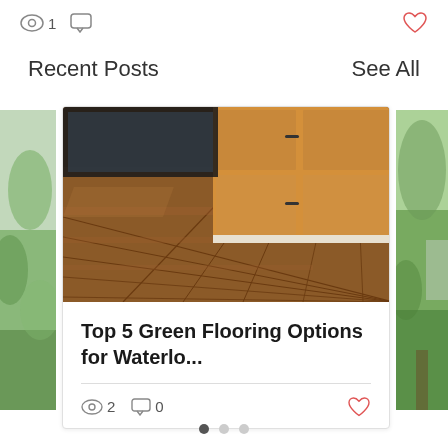👁 1  💬  ❤
Recent Posts
See All
[Figure (photo): Left peek of a card showing green/nature image]
[Figure (photo): Wooden flooring with bamboo/hardwood planks and light wood kitchen cabinetry in background]
Top 5 Green Flooring Options for Waterlo...
👁 2  💬 0  ❤
[Figure (photo): Right peek of a card showing green outdoor/nature image]
● ● ●